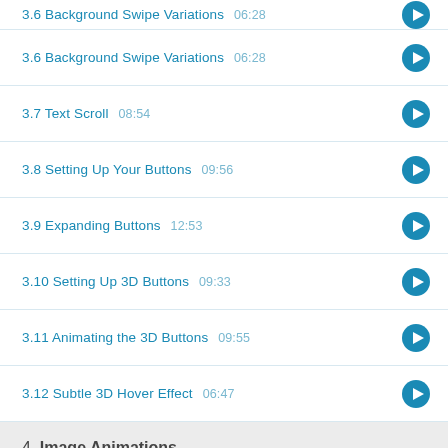3.6 Background Swipe Variations  06:28
3.7 Text Scroll  08:54
3.8 Setting Up Your Buttons  09:56
3.9 Expanding Buttons  12:53
3.10 Setting Up 3D Buttons  09:33
3.11 Animating the 3D Buttons  09:55
3.12 Subtle 3D Hover Effect  06:47
4. Image Animations
4.1 Basic Image Hover Effects